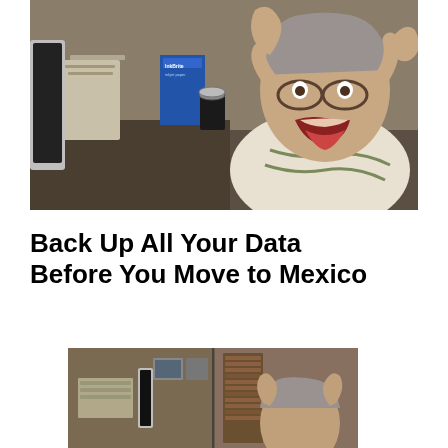[Figure (photo): A person with glasses and mouth wide open in a scream, hands raised to their head in distress, sitting at a very cluttered desk with papers, a CD spindle, computer equipment, and inkjet paper boxes visible in the background.]
Back Up All Your Data Before You Move to Mexico
[Figure (photo): A split/triptych photo showing the same cluttered desk from different angles and a person with hands raised to their head in frustration. Office/home workspace with media storage visible.]